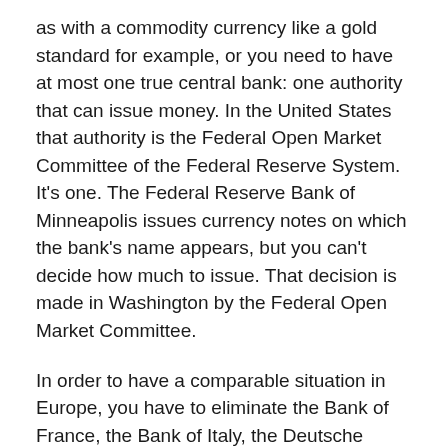as with a commodity currency like a gold standard for example, or you need to have at most one true central bank: one authority that can issue money. In the United States that authority is the Federal Open Market Committee of the Federal Reserve System. It's one. The Federal Reserve Bank of Minneapolis issues currency notes on which the bank's name appears, but you can't decide how much to issue. That decision is made in Washington by the Federal Open Market Committee.
In order to have a comparable situation in Europe, you have to eliminate the Bank of France, the Bank of Italy, the Deutsche Bundesbank, the Bank of England and so forth. You have to have one true central bank with full authority. The plans that are being made call for such a central bank, but it's a long cry from calling for it and having it. After all, the Treaty of Rome, which I believe was signed in 1957, called for eliminating all customs